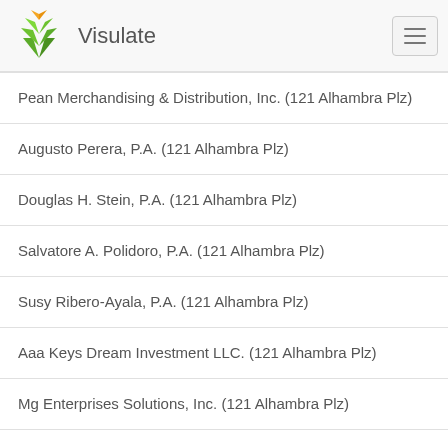Visulate
Pean Merchandising & Distribution, Inc. (121 Alhambra Plz)
Augusto Perera, P.A. (121 Alhambra Plz)
Douglas H. Stein, P.A. (121 Alhambra Plz)
Salvatore A. Polidoro, P.A. (121 Alhambra Plz)
Susy Ribero-Ayala, P.A. (121 Alhambra Plz)
Aaa Keys Dream Investment LLC. (121 Alhambra Plz)
Mg Enterprises Solutions, Inc. (121 Alhambra Plz)
Rgb Global, Inc. (121 Alhambra Plz)
Cbc Holdings LLC (122 Minorca Ave)
Moghani Law, Pllc (122 Minorca Ave)